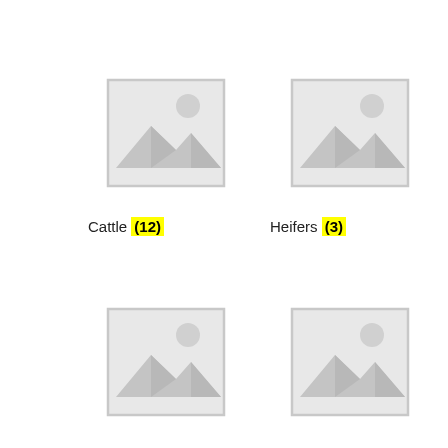[Figure (illustration): Placeholder image icon (landscape/mountain with sun), top-left position]
[Figure (illustration): Placeholder image icon (landscape/mountain with sun), top-right position]
Cattle (12)
Heifers (3)
[Figure (illustration): Placeholder image icon (landscape/mountain with sun), bottom-left position]
[Figure (illustration): Placeholder image icon (landscape/mountain with sun), bottom-right position]